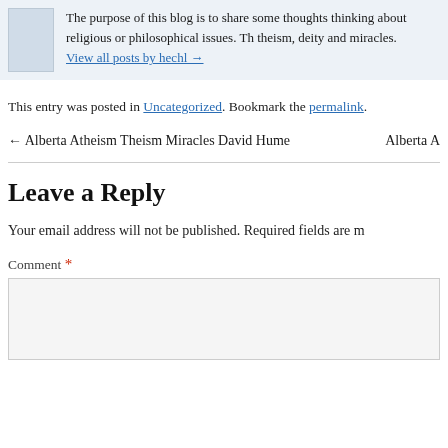The purpose of this blog is to share some thoughts thinking about religious or philosophical issues. Theism, deity and miracles.
View all posts by hechl →
This entry was posted in Uncategorized. Bookmark the permalink.
← Alberta Atheism Theism Miracles David Hume   Alberta A
Leave a Reply
Your email address will not be published. Required fields are m
Comment *